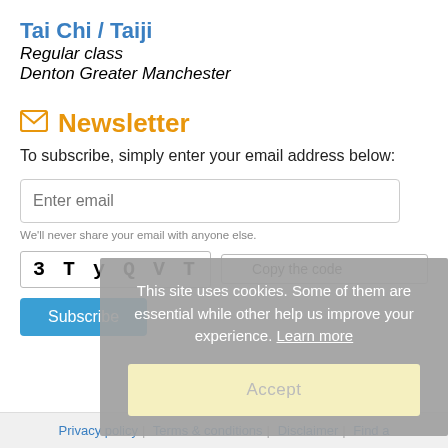Tai Chi / Taiji
Regular class
Denton Greater Manchester
Newsletter
To subscribe, simply enter your email address below:
Enter email
We'll never share your email with anyone else.
3 T y Q V T
Copy the code
Subscribe
This site uses cookies. Some of them are essential while other help us improve your experience. Learn more
Accept
Privacy policy | Terms & conditions | Disclaimer | Find a